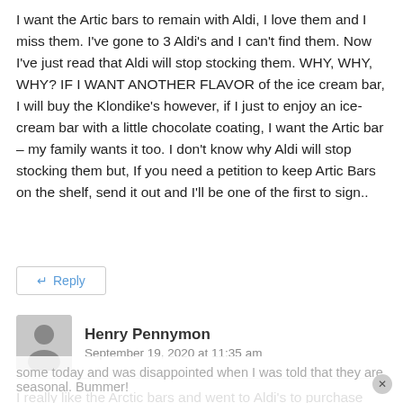I want the Artic bars to remain with Aldi, I love them and I miss them. I've gone to 3 Aldi's and I can't find them. Now I've just read that Aldi will stop stocking them. WHY, WHY, WHY? IF I WANT ANOTHER FLAVOR of the ice cream bar, I will buy the Klondike's however, if I just to enjoy an ice-cream bar with a little chocolate coating, I want the Artic bar – my family wants it too. I don't know why Aldi will stop stocking them but, If you need a petition to keep Artic Bars on the shelf, send it out and I'll be one of the first to sign..
↵ Reply
Henry Pennymon
September 19, 2020 at 11:35 am
I really like the Arctic bars and went to Aldi's to purchase some today and was disappointed when I was told that they are seasonal. Bummer!